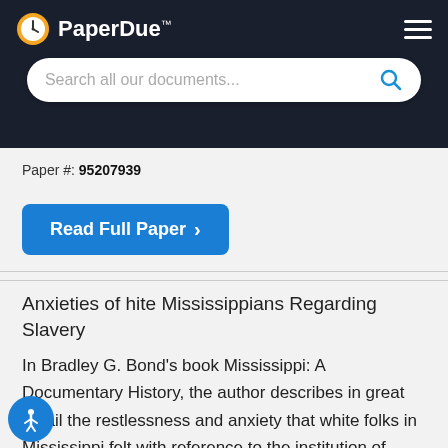[Figure (logo): PaperDue logo with clock icon and navigation bar with hamburger menu and search field on dark background]
Paper #: 95207939
Read Full Paper ›
Anxieties of hite Mississippians Regarding Slavery
In Bradley G. Bond's book Mississippi: A Documentary History, the author describes in great detail the restlessness and anxiety that white folks in Mississippi felt with reference to the institution of slavery. Bond describes the growth of slavery, what